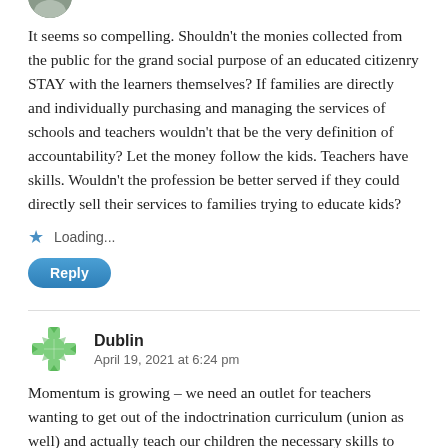It seems so compelling. Shouldn't the monies collected from the public for the grand social purpose of an educated citizenry STAY with the learners themselves? If families are directly and individually purchasing and managing the services of schools and teachers wouldn't that be the very definition of accountability? Let the money follow the kids. Teachers have skills. Wouldn't the profession be better served if they could directly sell their services to families trying to educate kids?
Loading...
Reply
Dublin
April 19, 2021 at 6:24 pm
Momentum is growing – we need an outlet for teachers wanting to get out of the indoctrination curriculum (union as well) and actually teach our children the necessary skills to succeed, not be dumbed down and confused by some political